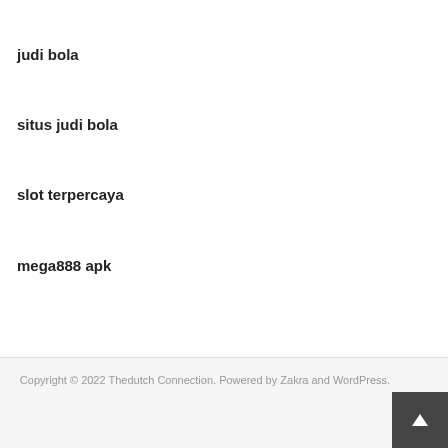judi bola
situs judi bola
slot terpercaya
mega888 apk
Copyright © 2022 Thedutch Connection. Powered by Zakra and WordPress.